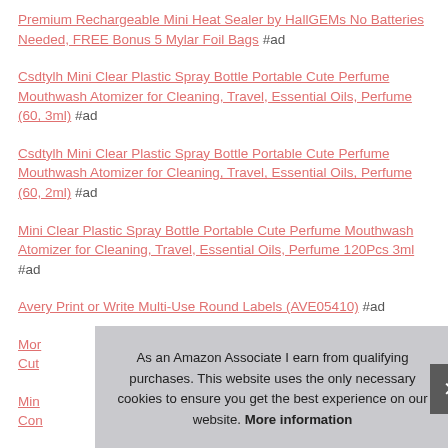Premium Rechargeable Mini Heat Sealer by HallGEMs No Batteries Needed, FREE Bonus 5 Mylar Foil Bags #ad
Csdtylh Mini Clear Plastic Spray Bottle Portable Cute Perfume Mouthwash Atomizer for Cleaning, Travel, Essential Oils, Perfume (60, 3ml) #ad
Csdtylh Mini Clear Plastic Spray Bottle Portable Cute Perfume Mouthwash Atomizer for Cleaning, Travel, Essential Oils, Perfume (60, 2ml) #ad
Mini Clear Plastic Spray Bottle Portable Cute Perfume Mouthwash Atomizer for Cleaning, Travel, Essential Oils, Perfume 120Pcs 3ml #ad
Avery Print or Write Multi-Use Round Labels (AVE05410) #ad
Mor... Cut...
Min... Con...
As an Amazon Associate I earn from qualifying purchases. This website uses the only necessary cookies to ensure you get the best experience on our website. More information